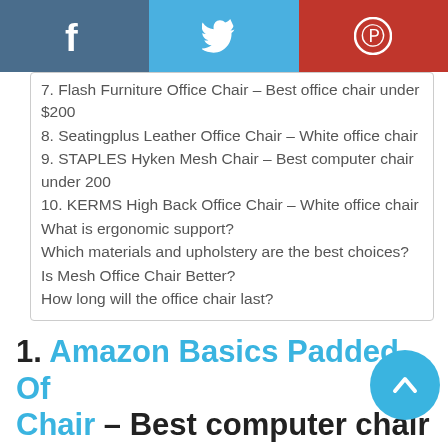[Figure (infographic): Social share buttons bar: Facebook (dark blue), Twitter (light blue), Pinterest (red) icons]
7. Flash Furniture Office Chair – Best office chair under $200
8. Seatingplus Leather Office Chair – White office chair
9. STAPLES Hyken Mesh Chair – Best computer chair under 200
10. KERMS High Back Office Chair – White office chair
What is ergonomic support?
Which materials and upholstery are the best choices?
Is Mesh Office Chair Better?
How long will the office chair last?
1. Amazon Basics Padded Office Chair – Best computer chair